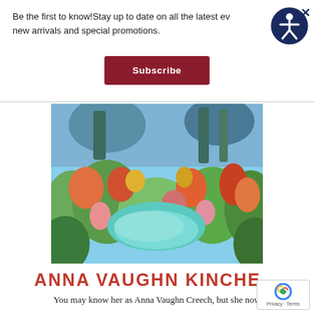Be the first to know!Stay up to date on all the latest events, new arrivals and special promotions.
Subscribe
[Figure (illustration): Accessibility icon: circular dark navy button with a white person/figure icon in the center]
[Figure (photo): Colorful impressionist-style painting of a garden or landscape with lush green, orange, pink, red, blue and teal foliage and a light blue sky or water in the background.]
ANNA VAUGHN KINCHE
You may know her as Anna Vaughn Creech, but she now